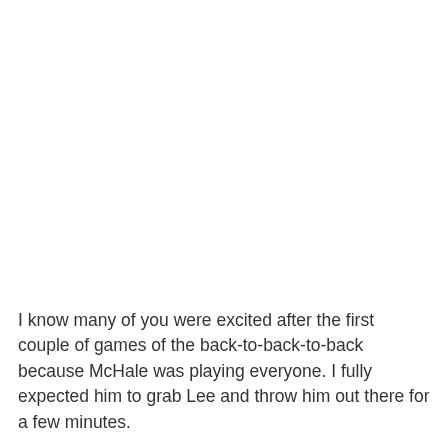I know many of you were excited after the first couple of games of the back-to-back-to-back because McHale was playing everyone. I fully expected him to grab Lee and throw him out there for a few minutes.
But that changed on Saturday. Top players saw time